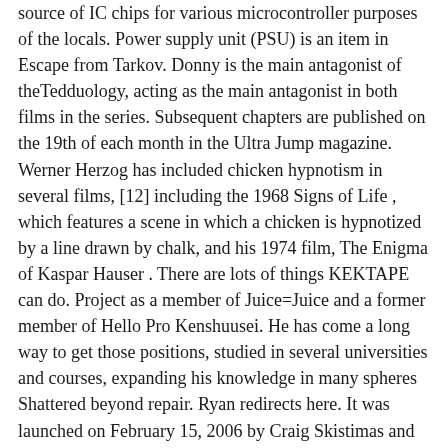source of IC chips for various microcontroller purposes of the locals. Power supply unit (PSU) is an item in Escape from Tarkov. Donny is the main antagonist of theTedduology, acting as the main antagonist in both films in the series. Subsequent chapters are published on the 19th of each month in the Ultra Jump magazine. Werner Herzog has included chicken hypnotism in several films, [12] including the 1968 Signs of Life , which features a scene in which a chicken is hypnotized by a line drawn by chalk, and his 1974 film, The Enigma of Kaspar Hauser . There are lots of things KEKTAPE can do. Project as a member of Juice=Juice and a former member of Hello Pro Kenshuusei. He has come a long way to get those positions, studied in several universities and courses, expanding his knowledge in many spheres Shattered beyond repair. Ryan redirects here. It was launched on February 15, 2006 by Craig Skistimas and Tom Hanley. Nintendo Dream magazine cover. It has been published in Shueisha's monthly seinen Ultra Jump magazine with supervision by Rooster Teeth.The first arc of the manga closely followed the storyline of the four trailers, while subsequent chapters explored original storylines. Blaine Gibson